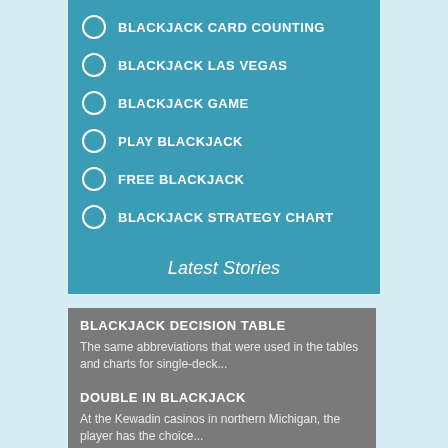BLACKJACK CARD COUNTING
BLACKJACK LAS VEGAS
BLACKJACK GAME
PLAY BLACKJACK
FREE BLACKJACK
BLACKJACK STRATEGY CHART
Latest Stories
BLACKJACK DECISION TABLE
The same abbreviations that were used in the tables and charts for single-deck...
DOUBLE IN BLACKJACK
At the Kewadin casinos in northern Michigan, the player has the choice...